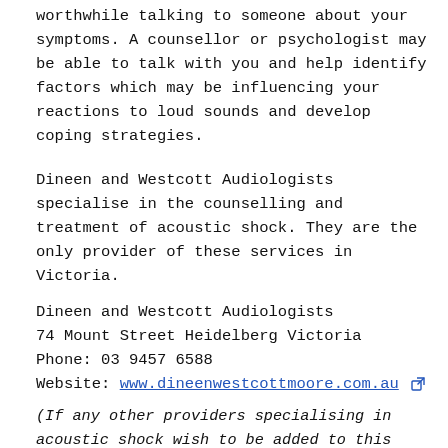worthwhile talking to someone about your symptoms. A counsellor or psychologist may be able to talk with you and help identify factors which may be influencing your reactions to loud sounds and develop coping strategies.
Dineen and Westcott Audiologists specialise in the counselling and treatment of acoustic shock.  They are the only provider of these services in Victoria.
Dineen and Westcott Audiologists
74 Mount Street Heidelberg Victoria
Phone: 03 9457 6588
Website: www.dineenwestcottmoore.com.au
(If any other providers specialising in acoustic shock wish to be added to this handout, please call 03 9929